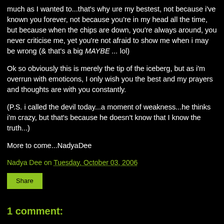much as I wanted to...that's why ure my bestest, not because i've known you forever, not because you're in my head all the time, but because when the chips are down, you're always around, you never criticise me, yet you're not afraid to show me when i may be wrong (& that's a big MAYBE ... lol)
Ok so obviously this is merely the tip of the iceberg, but as i'm overrun with emoticons, I only wish you the best and my prayers and thoughts are with you constantly.
(P.S. i called the devil today...a moment of weakness...he thinks i'm crazy, but that's because he doesn't know that I know the truth...)
More to come...NadyaDee
Nadya Dee on Tuesday, October 03, 2006
Share
1 comment: